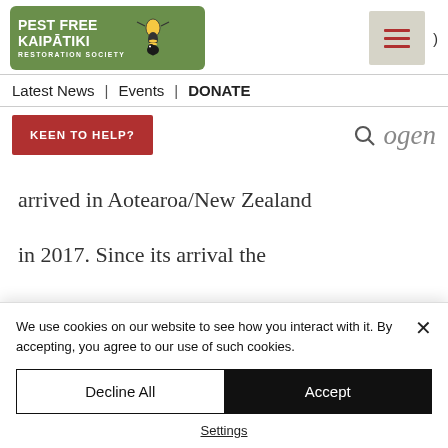[Figure (logo): Pest Free Kaipatiki Restoration Society logo — green rounded rectangle with white bold text and bird/wasp illustration]
Latest News | Events | DONATE
KEEN TO HELP?
ogen
arrived in Aotearoa/New Zealand in 2017. Since its arrival the disease has quickly spread across the North Island and has
We use cookies on our website to see how you interact with it. By accepting, you agree to our use of such cookies.
Decline All
Accept
Settings